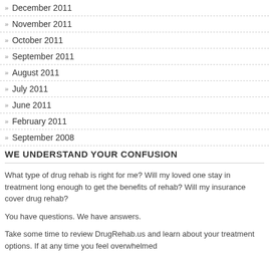December 2011
November 2011
October 2011
September 2011
August 2011
July 2011
June 2011
February 2011
September 2008
WE UNDERSTAND YOUR CONFUSION
What type of drug rehab is right for me? Will my loved one stay in treatment long enough to get the benefits of rehab? Will my insurance cover drug rehab?
You have questions. We have answers.
Take some time to review DrugRehab.us and learn about your treatment options. If at any time you feel overwhelmed